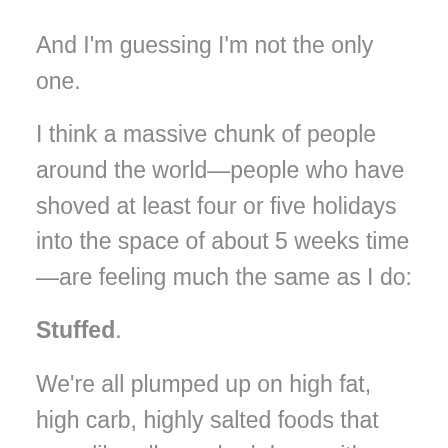And I'm guessing I'm not the only one.
I think a massive chunk of people around the world—people who have shoved at least four or five holidays into the space of about 5 weeks time—are feeling much the same as I do:
Stuffed.
We're all plumped up on high fat, high carb, highly salted foods that were liberally washed down with bucket after bucket of spirits, wine